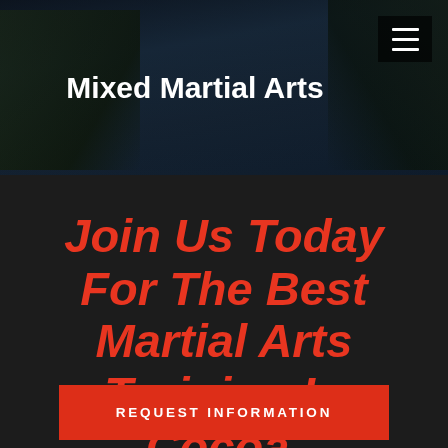Mixed Martial Arts
Join Us Today For The Best Martial Arts Training In Cocoa, Rockledge, & Viera!
REQUEST INFORMATION